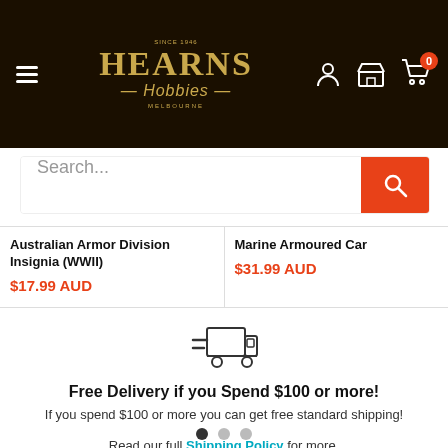[Figure (logo): Hearns Hobbies logo — gold serif text on dark brown background, with hamburger menu and header icons (user, store, cart with 0 badge)]
[Figure (screenshot): Search bar with placeholder text 'Search...' and orange search button with magnifying glass icon]
Australian Armor Division Insignia (WWII)
$17.99 AUD
Marine Armoured Car
$31.99 AUD
[Figure (illustration): Fast delivery truck icon with speed lines]
Free Delivery if you Spend $100 or more!
If you spend $100 or more you can get free standard shipping!
Read our full Shipping Policy for more.
[Figure (other): Three pagination dots, first dot filled dark, two dots gray]